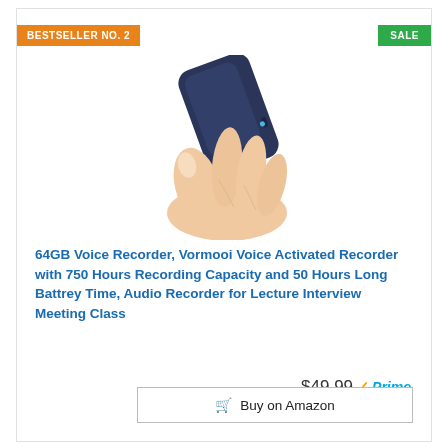BESTSELLER NO. 2
SALE
[Figure (photo): A hand holding a small dark blue voice recorder device, tilted slightly, shown against a white background.]
64GB Voice Recorder, Vormooi Voice Activated Recorder with 750 Hours Recording Capacity and 50 Hours Long Battrey Time, Audio Recorder for Lecture Interview Meeting Class
$49.99 Prime
Buy on Amazon